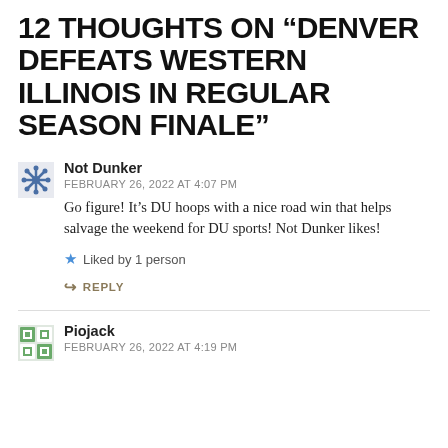12 THOUGHTS ON “DENVER DEFEATS WESTERN ILLINOIS IN REGULAR SEASON FINALE”
Not Dunker
FEBRUARY 26, 2022 AT 4:07 PM
Go figure! It’s DU hoops with a nice road win that helps salvage the weekend for DU sports! Not Dunker likes!
Liked by 1 person
REPLY
Piojack
FEBRUARY 26, 2022 AT 4:19 PM